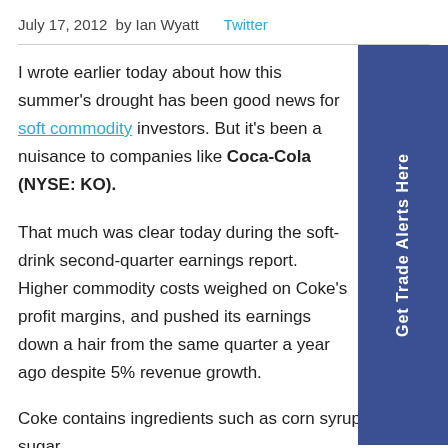July 17, 2012  by Ian Wyatt   Twitter
I wrote earlier today about how this summer's drought has been good news for soft commodity investors. But it's been a nuisance to companies like Coca-Cola (NYSE: KO).
That much was clear today during the soft-drink second-quarter earnings report. Higher commodity costs weighed on Coke's profit margins, and pushed its earnings down a hair from the same quarter a year ago despite 5% revenue growth.
Coke contains ingredients such as corn syrup and sugar